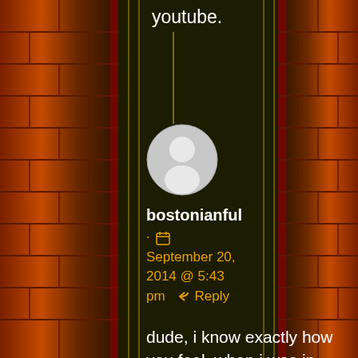youtube.
[Figure (photo): Default user avatar - grey circle with white silhouette of a person]
bostonianful
· 📅 September 20, 2014 @ 5:43 pm ↩ Reply
dude, i know exactly how you feel. when i was in junior high, and depression was getting the better of me i